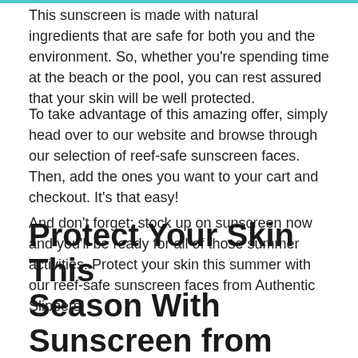This sunscreen is made with natural ingredients that are safe for both you and the environment. So, whether you're spending time at the beach or the pool, you can rest assured that your skin will be well protected.
To take advantage of this amazing offer, simply head over to our website and browse through our selection of reef-safe sunscreen faces. Then, add the ones you want to your cart and checkout. It's that easy!
And don't forget: stock up on sunscreen now and you'll be ready for all of those summer activities. Protect your skin this summer with our reef-safe sunscreen faces from Authentic Slippers!
Protect Your Skin This Season With Sunscreen from